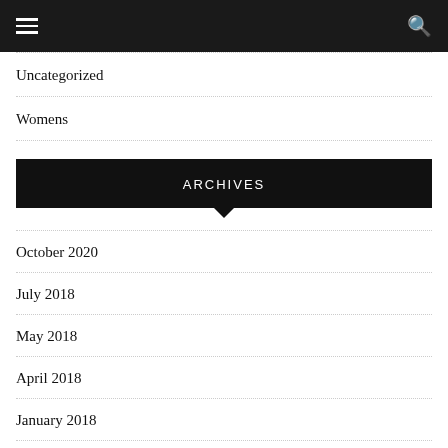Uncategorized
Womens
ARCHIVES
October 2020
July 2018
May 2018
April 2018
January 2018
February 2017
August 2016